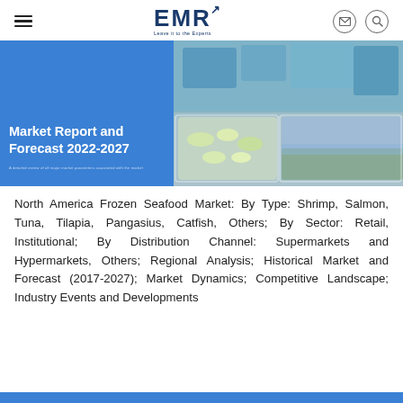EMR – Leave it to the Experts (navigation header with logo, hamburger menu, mail icon, search icon)
[Figure (illustration): Banner image with blue left panel showing 'Market Report and Forecast 2022-2027' in white text, and right panel showing collage photos of supplements/pills and laboratory items]
North America Frozen Seafood Market: By Type: Shrimp, Salmon, Tuna, Tilapia, Pangasius, Catfish, Others; By Sector: Retail, Institutional; By Distribution Channel: Supermarkets and Hypermarkets, Others; Regional Analysis; Historical Market and Forecast (2017-2027); Market Dynamics; Competitive Landscape; Industry Events and Developments